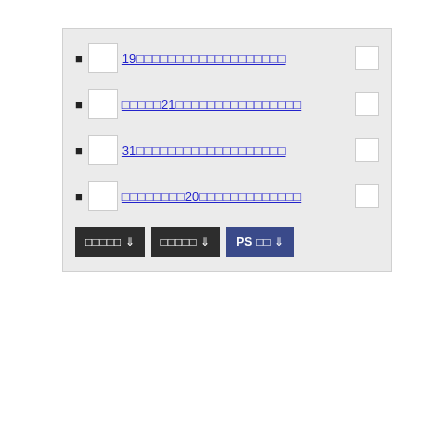19□□□□□□□□□□□□□□□□□□□
□□□□□21□□□□□□□□□□□□□□□□
31□□□□□□□□□□□□□□□□□□□
□□□□□□□□20□□□□□□□□□□□□□□□□
□□□□□ ⇓   □□□□□ ⇓   PS□□ ⇓